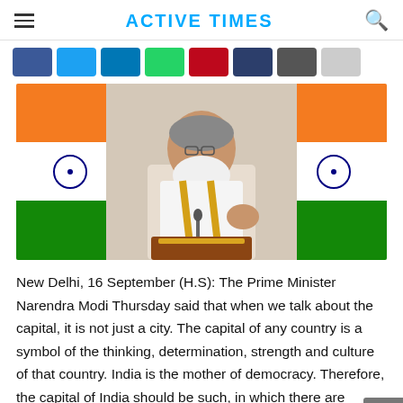ACTIVE TIMES
[Figure (photo): Prime Minister Narendra Modi speaking at a podium with Indian flags in the background, wearing a white kurta and golden stole, gesturing with his hand]
New Delhi, 16 September (H.S): The Prime Minister Narendra Modi Thursday said that when we talk about the capital, it is not just a city. The capital of any country is a symbol of the thinking, determination, strength and culture of that country. India is the mother of democracy. Therefore, the capital of India should be such, in which there are citizens, people in the